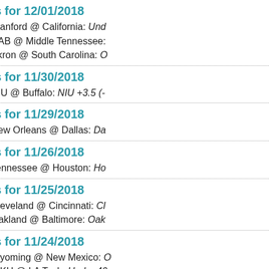Picks for 12/01/2018
Stanford @ California: Und...
UAB @ Middle Tennessee: ...
Akron @ South Carolina: O...
Picks for 11/30/2018
NIU @ Buffalo: NIU +3.5 (-...
Picks for 11/29/2018
New Orleans @ Dallas: Da...
Picks for 11/26/2018
Tennessee @ Houston: Ho...
Picks for 11/25/2018
Cleveland @ Cincinnati: Cl...
Oakland @ Baltimore: Oak...
Picks for 11/24/2018
Wyoming @ New Mexico: ...
WKU @ LA Tech: Under 49...
Picks for 11/23/2018
Oklahoma @ West Virginia...
Coastal Carolina @ South A...
Akron @ Ohio: Over 57 (-1...